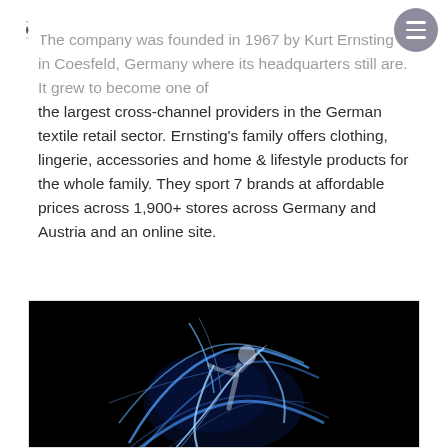Centric Software [logo] [menu button]
The company was founded in 1967 by Kurt Ernsting in Coesfeld, Germany where its headquarters still are. It grew to become one of the largest cross-channel providers in the German textile retail sector. Ernsting's family offers clothing, lingerie, accessories and home & lifestyle products for the whole family. They sport 7 brands at affordable prices across 1,900+ stores across Germany and Austria and an online site.
[Figure (photo): A dark artistic photo of a figure (dancer or performer) surrounded by glowing blue light streaks and ribbons on a black background, creating a dramatic light-painting effect.]